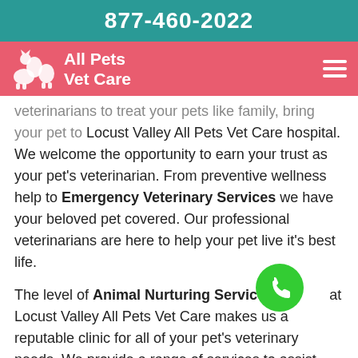877-460-2022
All Pets Vet Care
veterinarians to treat your pets like family, bring your pet to Locust Valley All Pets Vet Care hospital. We welcome the opportunity to earn your trust as your pet's veterinarian. From preventive wellness help to Emergency Veterinary Services we have your beloved pet covered. Our professional veterinarians are here to help your pet live it's best life.
The level of Animal Nurturing Services at Locust Valley All Pets Vet Care makes us a reputable clinic for all of your pet's veterinary needs. We provide a range of services to assist your pet enjoy the best possible health.